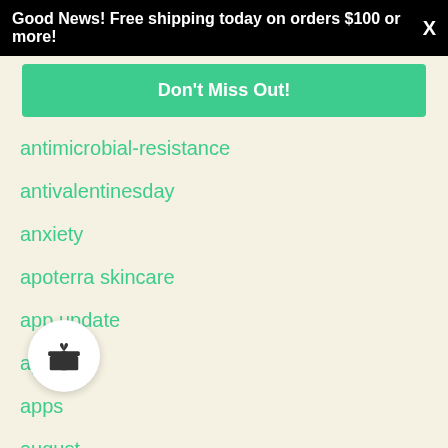Good News! Free shipping today on orders $100 or more! X
Don't Miss Out!
antimicrobial-resistance
antivalentinesday
anxiety
apoterra skincare
app update
apparel
apps
august
award winning
aw...
Baby Cologne
[Figure (illustration): Gift box icon in a white circle overlay]